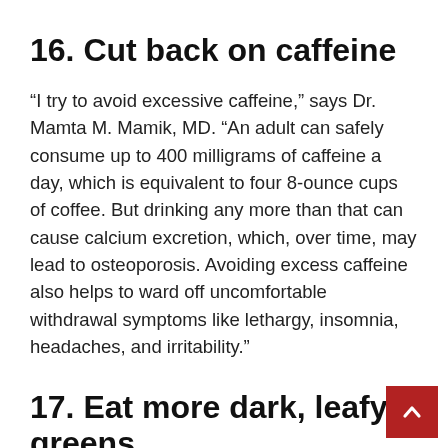16. Cut back on caffeine
“I try to avoid excessive caffeine,” says Dr. Mamta M. Mamik, MD. “An adult can safely consume up to 400 milligrams of caffeine a day, which is equivalent to four 8-ounce cups of coffee. But drinking any more than that can cause calcium excretion, which, over time, may lead to osteoporosis. Avoiding excess caffeine also helps to ward off uncomfortable withdrawal symptoms like lethargy, insomnia, headaches, and irritability.”
17. Eat more dark, leafy greens